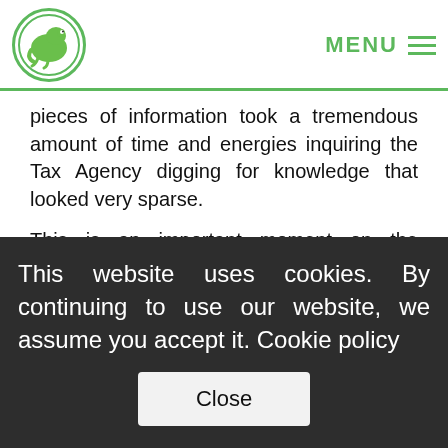MENU
pieces of information took a tremendous amount of time and energies inquiring the Tax Agency digging for knowledge that looked very sparse.
This is an important moment on the personal side as well: one year ago I left my daily job with a secure salary to become an entrepreneur and chase a life dream: build a software house.
One year without salary, refusing any gig that would take
This website uses cookies. By continuing to use our website, we assume you accept it. Cookie policy
Close